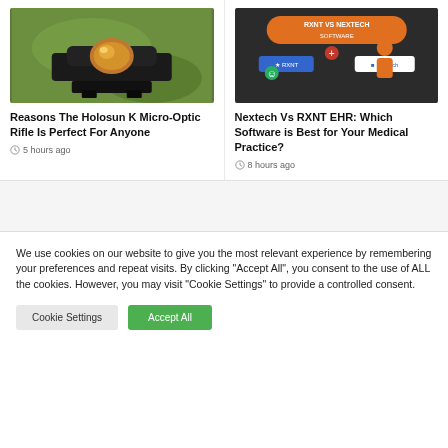[Figure (photo): Photo of a Holosun K Micro-Optic rifle scope mounted on a rifle, green blurred background]
Reasons The Holosun K Micro-Optic Rifle Is Perfect For Anyone
5 hours ago
[Figure (infographic): Infographic showing RXNT vs Nextech Software comparison with orange background and icons]
Nextech Vs RXNT EHR: Which Software is Best for Your Medical Practice?
8 hours ago
We use cookies on our website to give you the most relevant experience by remembering your preferences and repeat visits. By clicking “Accept All”, you consent to the use of ALL the cookies. However, you may visit "Cookie Settings" to provide a controlled consent.